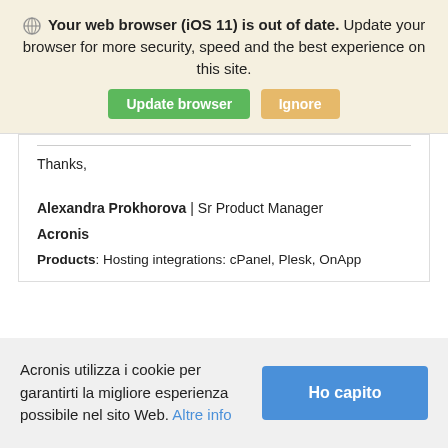[Figure (screenshot): Browser update banner with globe icon, bold warning text, green Update browser button and orange Ignore button]
Thanks,
Alexandra Prokhorova | Sr Product Manager

Acronis

Products: Hosting integrations: cPanel, Plesk, OnApp
Acronis utilizza i cookie per garantirti la migliore esperienza possibile nel sito Web. Altre info
[Figure (screenshot): Blue Ho capito button for cookie consent]